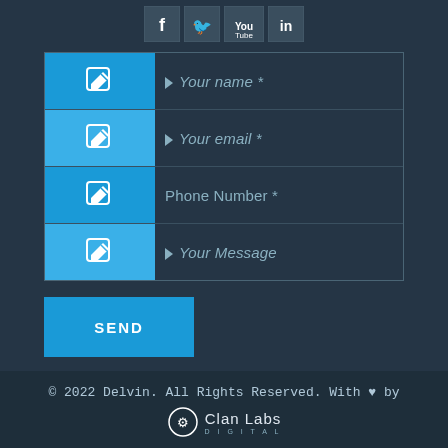[Figure (other): Social media icons: Facebook, Twitter, YouTube, LinkedIn]
[Figure (other): Contact form with fields: Your name *, Your email *, Phone Number *, Your Message, and a SEND button]
© 2022 Delvin. All Rights Reserved. With ❤ by Clan Labs DIGITAL